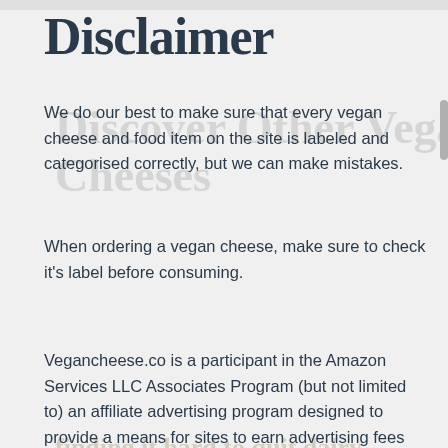Disclaimer
We do our best to make sure that every vegan cheese and food item on the site is labeled and categorised correctly, but we can make mistakes.
When ordering a vegan cheese, make sure to check it's label before consuming.
Vegancheese.co is a participant in the Amazon Services LLC Associates Program (but not limited to) an affiliate advertising program designed to provide a means for sites to earn advertising fees by advertising and linking to Amazon websites.
We have the biggest database of vegan cheeses anywhere online at our discovery app
Go check it out as we're sure you can find a new favorite or